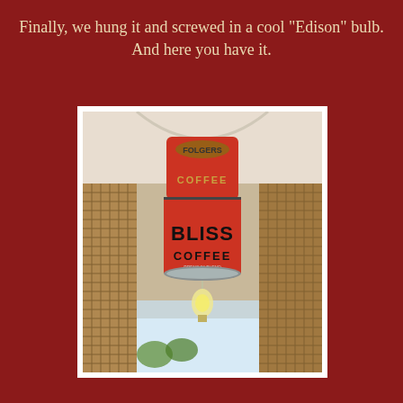Finally, we hung it and screwed in a cool "Edison" bulb. And here you have it.
[Figure (photo): A vintage red coffee can lamp (Folgers/Bliss Coffee can) hung from a ceiling, with an Edison bulb visible below it. The can is mounted upside-down as a light shade, with wicker/rattan panels visible in the background.]